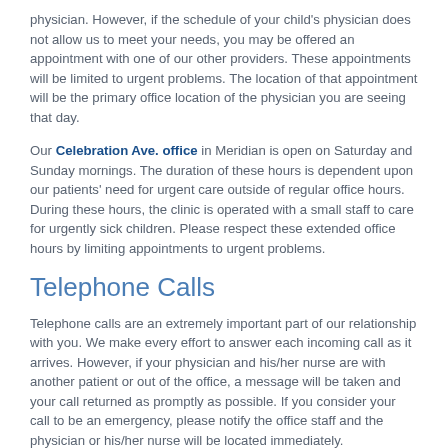physician. However, if the schedule of your child's physician does not allow us to meet your needs, you may be offered an appointment with one of our other providers. These appointments will be limited to urgent problems. The location of that appointment will be the primary office location of the physician you are seeing that day.
Our Celebration Ave. office in Meridian is open on Saturday and Sunday mornings. The duration of these hours is dependent upon our patients' need for urgent care outside of regular office hours. During these hours, the clinic is operated with a small staff to care for urgently sick children. Please respect these extended office hours by limiting appointments to urgent problems.
Telephone Calls
Telephone calls are an extremely important part of our relationship with you. We make every effort to answer each incoming call as it arrives. However, if your physician and his/her nurse are with another patient or out of the office, a message will be taken and your call returned as promptly as possible. If you consider your call to be an emergency, please notify the office staff and the physician or his/her nurse will be located immediately.